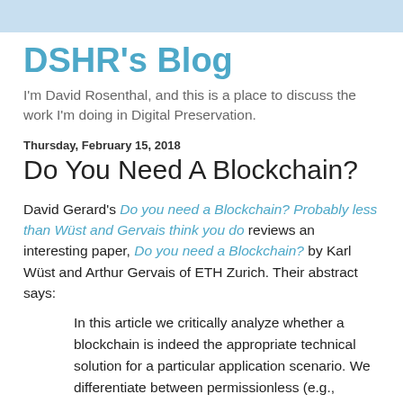DSHR's Blog
I'm David Rosenthal, and this is a place to discuss the work I'm doing in Digital Preservation.
Thursday, February 15, 2018
Do You Need A Blockchain?
David Gerard's Do you need a Blockchain? Probably less than Wüst and Gervais think you do reviews an interesting paper, Do you need a Blockchain? by Karl Wüst and Arthur Gervais of ETH Zurich. Their abstract says:
In this article we critically analyze whether a blockchain is indeed the appropriate technical solution for a particular application scenario. We differentiate between permissionless (e.g., Bitcoin/Ethereum) and permissioned (e.g. Hyperledger/Corda) blockchains and contrast